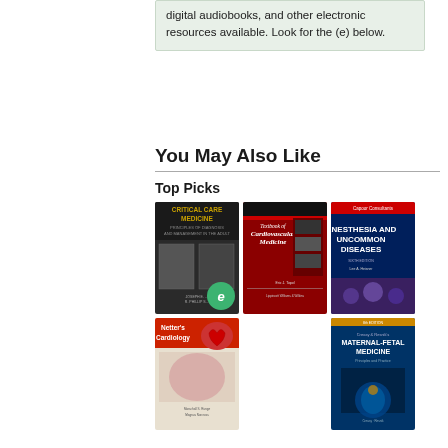digital audiobooks, and other electronic resources available. Look for the (e) below.
You May Also Like
Top Picks
[Figure (photo): Book cover: Critical Care Medicine with green (e) badge overlay]
[Figure (photo): Book cover: Textbook of Cardiovascular Medicine]
[Figure (photo): Book cover: Anesthesia and Uncommon Diseases]
[Figure (photo): Book cover: Netter's Cardiology]
[Figure (photo): Book cover: Creasy and Resnik's Maternal-Fetal Medicine]